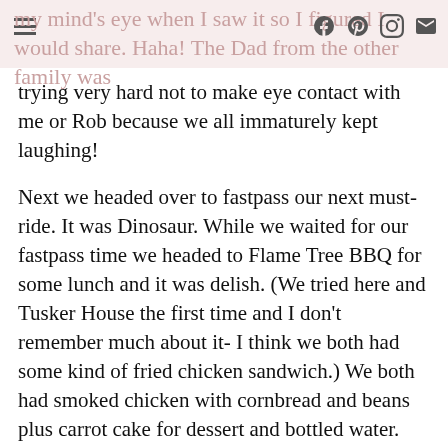my mind's eye when I saw it so I figured I would share. Haha! The Dad from the other family was trying very hard not to make eye contact with me or Rob because we all immaturely kept laughing!
Next we headed over to fastpass our next must-ride. It was Dinosaur. While we waited for our fastpass time we headed to Flame Tree BBQ for some lunch and it was delish. (We tried here and Tusker House the first time and I don't remember much about it- I think we both had some kind of fried chicken sandwich.) We both had smoked chicken with cornbread and beans plus carrot cake for dessert and bottled water. Yum! Afterwards we headed back over to Dinosaur and our time was already there so we jumped right on! Another great host, I love